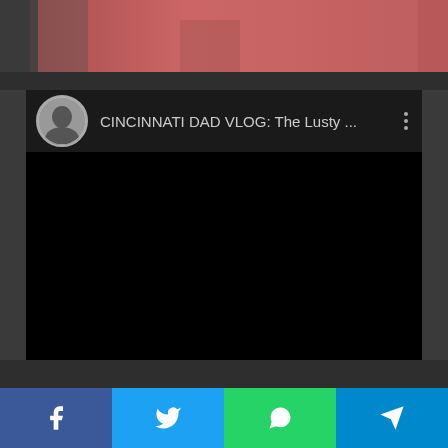[Figure (photo): Partial photo at top showing person in red/pink clothing]
[Figure (screenshot): YouTube-style video embed showing 'CINCINNATI DAD VLOG: The Lusty ...' with black video area and avatar, three-dots menu]
[Figure (infographic): Social share bar with Facebook, Twitter, WhatsApp, and Telegram buttons]